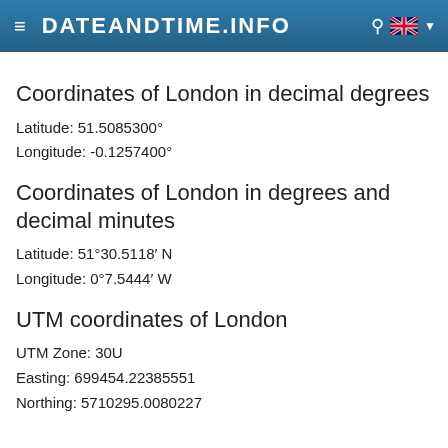DATEANDTIME.INFO
Coordinates of London in decimal degrees
Latitude: 51.5085300°
Longitude: -0.1257400°
Coordinates of London in degrees and decimal minutes
Latitude: 51°30.5118′ N
Longitude: 0°7.5444′ W
UTM coordinates of London
UTM Zone: 30U
Easting: 699454.22385551
Northing: 5710295.0080227